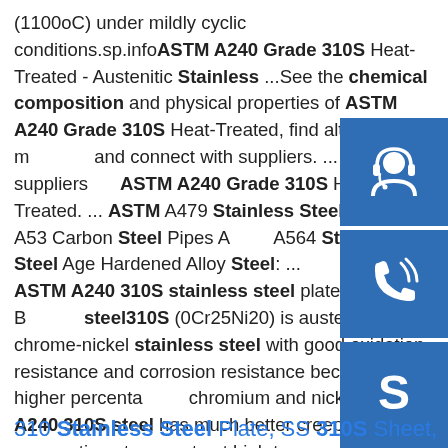(1100oC) under mildly cyclic conditions.sp.info ASTM A240 Grade 310S Heat-Treated - Austenitic Stainless ...See the chemical composition and physical properties of ASTM A240 Grade 310S Heat-Treated, find alternative materials and connect with suppliers. ... We have 3 suppliers for ASTM A240 Grade 310S Heat-Treated. ... ASTM A479 Stainless Steel ASTM A53 Carbon Steel Pipes ASTM A564 Stainless Steel Age Hardened Alloy Steel: ... ASTM A240 310S stainless steel plate sheets - BEBON steel310S (0Cr25Ni20) is austenitic chrome-nickel stainless steel with good oxidation resistance and corrosion resistance because of the higher percentage of chromium and nickel. ASTM A240 310S steel has much better creep strength, can continue to operate at high temperatures and has good high temperature resistance.. ASTM A240 310S stainless steel Chemical Composition:
[Figure (infographic): Three blue square buttons on the right side: customer support headset icon, phone/call icon, Skype icon]
310 Stainless Steel Plate, SS 310S Sheet,